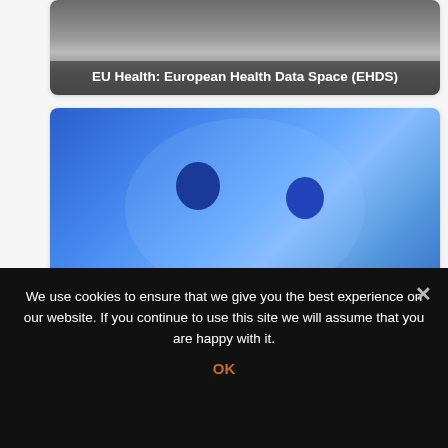[Figure (screenshot): Card with grey/dark image background showing caption: EU Health: European Health Data Space (EHDS)]
EU Health: European Health Data Space (EHDS)
[Figure (illustration): Card with blue illustration of two person silhouettes, caption: New Roaming rules for travellers in the EU]
New Roaming rules for travellers in the EU
[Figure (photo): Card with dark cracked glass / broken glass photo, partially visible]
We use cookies to ensure that we give you the best experience on our website. If you continue to use this site we will assume that you are happy with it.
OK